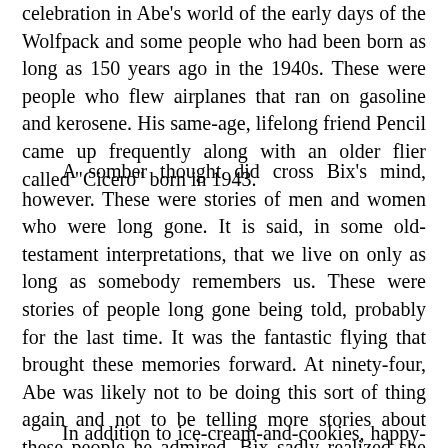celebration in Abe's world of the early days of the Wolfpack and some people who had been born as long as 150 years ago in the 1940s. These were people who flew airplanes that ran on gasoline and kerosene. His same-age, lifelong friend Pencil came up frequently along with an older flier called "Cicero" born in 1943.
A somber thought did cross Bix's mind, however. These were stories of men and women who were long gone. It is said, in some old-testament interpretations, that we live on only as long as somebody remembers us. These were stories of people long gone being told, probably for the last time. It was the fantastic flying that brought these memories forward. At ninety-four, Abe was likely not to be doing this sort of thing again and not to be telling more stories about these people he admired. Bix sadly realized she was witness to their last living memories, the end of their old-testament lives in recollection.
In addition to ice-cream-and-cookies, happy-time